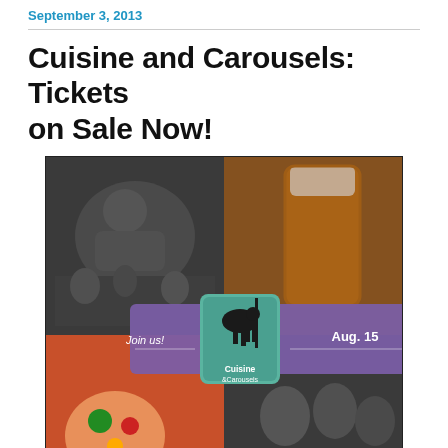September 3, 2013
Cuisine and Carousels: Tickets on Sale Now!
[Figure (photo): Cuisine and Carousels event promotional image showing food, beer, a carousel horse, and crowd photos. Text reads 'Join us! Aug. 15 Cuisine & Carousels']
August 15, 2013  .  6:30 – 9:30 pm  .  Lake Lansing Park South
You are invited to the first annual Cuisine and Carousels event, hosted by the Friends of Ingham County Parks